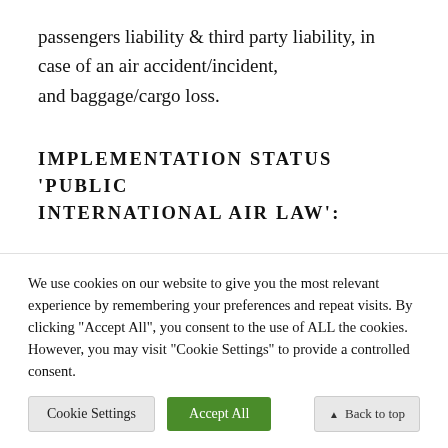passengers liability & third party liability, in case of an air accident/incident, and baggage/cargo loss.
IMPLEMENTATION STATUS 'PUBLIC INTERNATIONAL AIR LAW':
International Air Services Transit Agreement
We use cookies on our website to give you the most relevant experience by remembering your preferences and repeat visits. By clicking "Accept All", you consent to the use of ALL the cookies. However, you may visit "Cookie Settings" to provide a controlled consent.
Cookie Settings | Accept All | Back to top